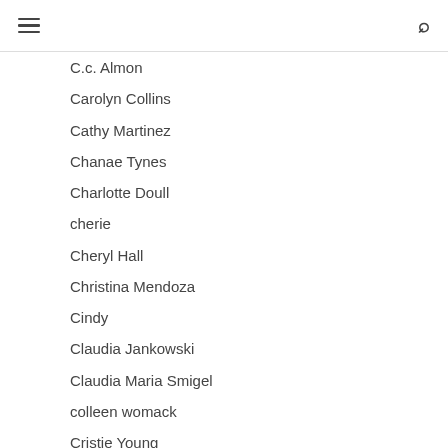[hamburger menu icon] [search icon]
C.c. Almon
Carolyn Collins
Cathy Martinez
Chanae Tynes
Charlotte Doull
cherie
Cheryl Hall
Christina Mendoza
Cindy
Claudia Jankowski
Claudia Maria Smigel
colleen womack
Cristie Young
Crystal Dimit
Crystal Jillson
Cyrena Robinson Parrouty
Danielle Manning